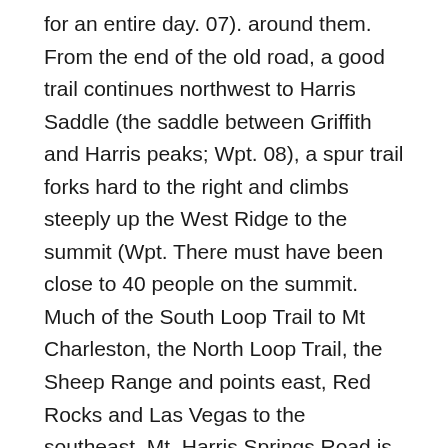for an entire day. 07). around them. From the end of the old road, a good trail continues northwest to Harris Saddle (the saddle between Griffith and Harris peaks; Wpt. 08), a spur trail forks hard to the right and climbs steeply up the West Ridge to the summit (Wpt. There must have been close to 40 people on the summit. Much of the South Loop Trail to Mt Charleston, the North Loop Trail, the Sheep Range and points east, Red Rocks and Las Vegas to the southeast, Mt. Harris Springs Road is a well-maintained dirt road. Views from the summit are spectacular. Without an exception, the best route (and pretty much the only route) around the dead-end cliff is to skirt the cliff to the right. Although it stands out as one of the major peaks of the Spring Mountains and is readily visible from most parts of Las Vegas, it appears to many as somewhat of a minor bump at the southern end of the long … It will soon